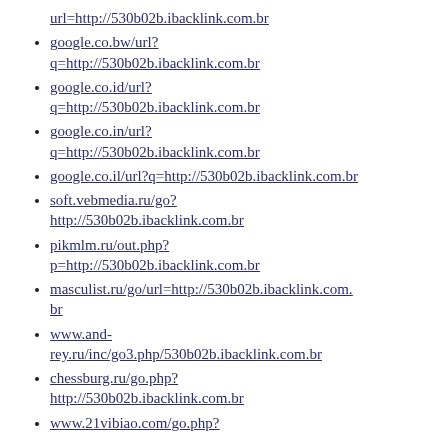url=http://530b02b.ibacklink.com.br
google.co.bw/url?q=http://530b02b.ibacklink.com.br
google.co.id/url?q=http://530b02b.ibacklink.com.br
google.co.in/url?q=http://530b02b.ibacklink.com.br
google.co.il/url?q=http://530b02b.ibacklink.com.br
soft.vebmedia.ru/go?http://530b02b.ibacklink.com.br
pikmlm.ru/out.php?p=http://530b02b.ibacklink.com.br
masculist.ru/go/url=http://530b02b.ibacklink.com.br
www.and-rey.ru/inc/go3.php/530b02b.ibacklink.com.br
chessburg.ru/go.php?http://530b02b.ibacklink.com.br
www.21vibiao.com/go.php?